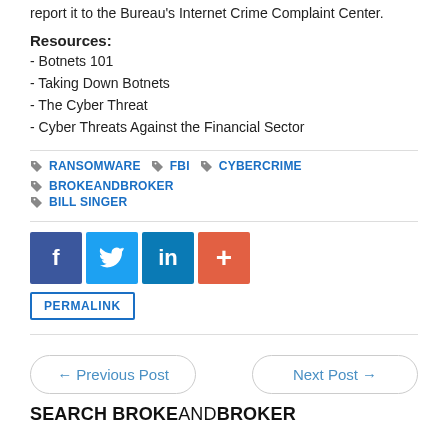report it to the Bureau's Internet Crime Complaint Center.
Resources:
- Botnets 101
- Taking Down Botnets
- The Cyber Threat
- Cyber Threats Against the Financial Sector
Tags: RANSOMWARE, FBI, CYBERCRIME, BROKEANDBROKER, BILL SINGER
[Figure (other): Social share buttons: Facebook, Twitter, LinkedIn, and a plus/more button]
PERMALINK
← Previous Post    Next Post →
SEARCH BROKEANDBROKER